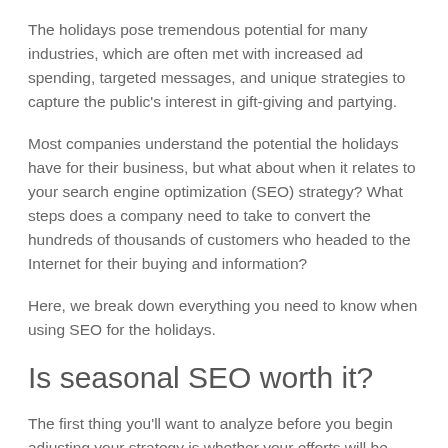The holidays pose tremendous potential for many industries, which are often met with increased ad spending, targeted messages, and unique strategies to capture the public's interest in gift-giving and partying.
Most companies understand the potential the holidays have for their business, but what about when it relates to your search engine optimization (SEO) strategy? What steps does a company need to take to convert the hundreds of thousands of customers who headed to the Internet for their buying and information?
Here, we break down everything you need to know when using SEO for the holidays.
Is seasonal SEO worth it?
The first thing you'll want to analyze before you begin adjusting your strategy is whether your efforts will be worth it. SEO is